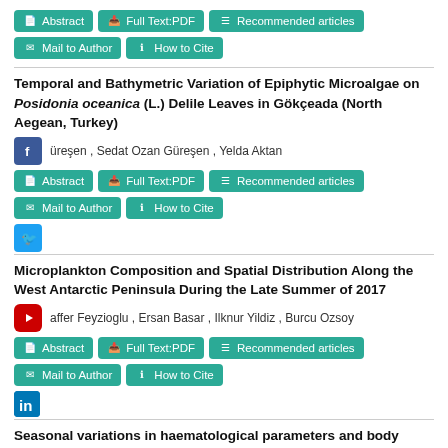[Figure (screenshot): Navigation buttons: Abstract, Full Text:PDF, Recommended articles, Mail to Author, How to Cite]
Temporal and Bathymetric Variation of Epiphytic Microalgae on Posidonia oceanica (L.) Delile Leaves in Gökçeada (North Aegean, Turkey)
üreşen , Sedat Ozan Güreşen , Yelda Aktan
[Figure (screenshot): Navigation buttons: Abstract, Full Text:PDF, Recommended articles, Mail to Author, How to Cite]
Microplankton Composition and Spatial Distribution Along the West Antarctic Peninsula During the Late Summer of 2017
affer Feyzioglu , Ersan Basar , Ilknur Yildiz , Burcu Ozsoy
[Figure (screenshot): Navigation buttons: Abstract, Full Text:PDF, Recommended articles, Mail to Author, How to Cite]
Seasonal variations in haematological parameters and body composition of Labeo rohita (Rohu) and Cirrhinus mrigala (Mrigal carp) in River Indus, District Dera Ismail Khan, Pakistan